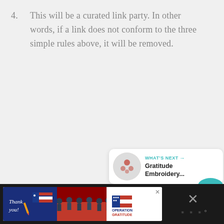4. This will be a curated link party. In other words, if a link does not conform to the three simple rules above, it will be removed.
[Figure (screenshot): Social media interaction sidebar with heart/like button (teal), count showing 327, and share button]
[Figure (screenshot): What's Next panel showing thumbnail and label 'WHAT'S NEXT → Gratitude Embroidery...']
[Figure (screenshot): Advertisement banner at bottom: Operation Gratitude 'Thank you' ad with military personnel photo on dark background]